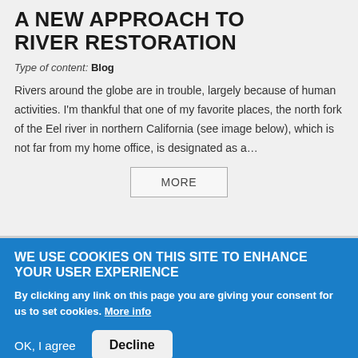A NEW APPROACH TO RIVER RESTORATION
Type of content: Blog
Rivers around the globe are in trouble, largely because of human activities. I'm thankful that one of my favorite places, the north fork of the Eel river in northern California (see image below), which is not far from my home office, is designated as a…
MORE
WE USE COOKIES ON THIS SITE TO ENHANCE YOUR USER EXPERIENCE
By clicking any link on this page you are giving your consent for us to set cookies. More info
OK, I agree   Decline